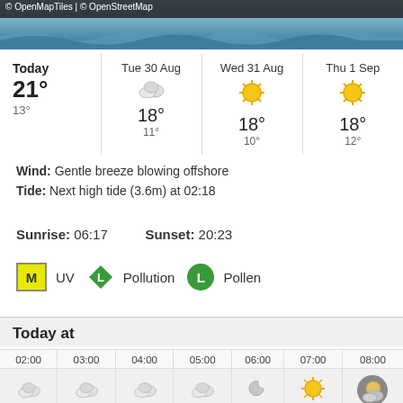[Figure (map): Map header with water/wave imagery and OpenMapTiles/OpenStreetMap copyright notice]
| Today | Tue 30 Aug | Wed 31 Aug | Thu 1 Sep |
| --- | --- | --- | --- |
| 21° / 13° | 18° / 11° | 18° / 10° | 18° / 12° |
Wind: Gentle breeze blowing offshore
Tide: Next high tide (3.6m) at 02:18
Sunrise: 06:17    Sunset: 20:23
M UV   L Pollution   L Pollen
Today at
| 02:00 | 03:00 | 04:00 | 05:00 | 06:00 | 07:00 | 08:00 |
| --- | --- | --- | --- | --- | --- | --- |
| [cloud] | [cloud] | [cloud] | [cloud] | [crescent] | [sun] | [partly-cloudy] |
Chance of precipitation